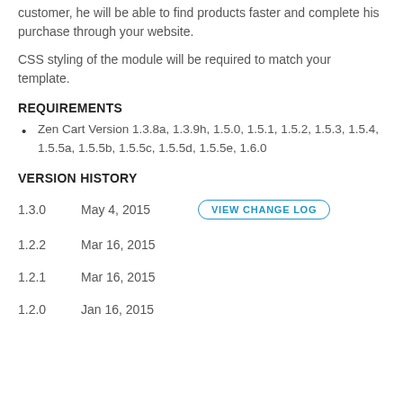customer, he will be able to find products faster and complete his purchase through your website.
CSS styling of the module will be required to match your template.
REQUIREMENTS
Zen Cart Version 1.3.8a, 1.3.9h, 1.5.0, 1.5.1, 1.5.2, 1.5.3, 1.5.4, 1.5.5a, 1.5.5b, 1.5.5c, 1.5.5d, 1.5.5e, 1.6.0
VERSION HISTORY
| Version | Date |  |
| --- | --- | --- |
| 1.3.0 | May 4, 2015 | VIEW CHANGE LOG |
| 1.2.2 | Mar 16, 2015 |  |
| 1.2.1 | Mar 16, 2015 |  |
| 1.2.0 | Jan 16, 2015 |  |